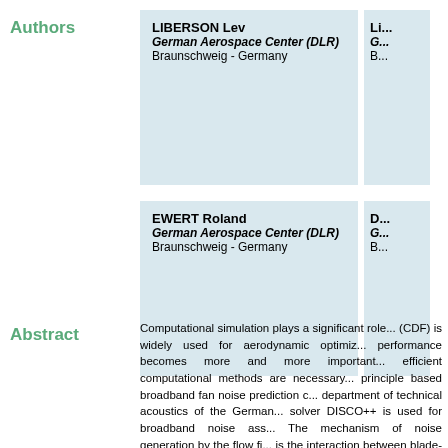Authors
LIBERSON Lev
German Aerospace Center (DLR)
Braunschweig - Germany
LI...
G...
B...
EWERT Roland
German Aerospace Center (DLR)
Braunschweig - Germany
D...
G...
B...
Abstract
Computational simulation plays a significant role... (CDF) is widely used for aerodynamic optimi... performance becomes more and more important... efficient computational methods are necessary... principle based broadband fan noise prediction c... department of technical acoustics of the German... solver DISCO++ is used for broadband noise ass... The mechanism of noise generation by the flow fi... is the interaction between blade-tip vortices with... option for spatial discretization of such highly c... approach is used in the CAA code DISCO++ to...